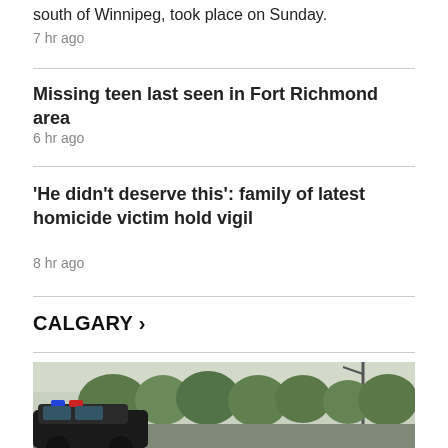south of Winnipeg, took place on Sunday.
7 hr ago
Missing teen last seen in Fort Richmond area
6 hr ago
'He didn't deserve this': family of latest homicide victim hold vigil
8 hr ago
CALGARY >
[Figure (photo): Street scene with police car with blue lights, trees in background, overcast sky]